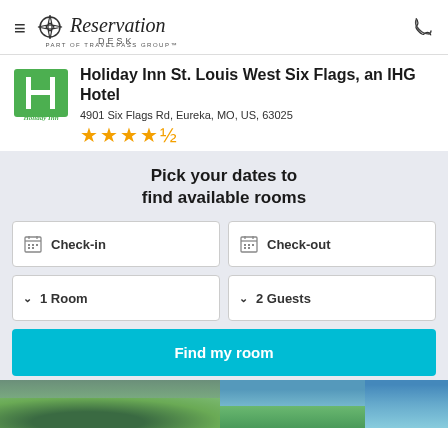Reservation Desk — PART OF TRAVELPASS GROUP™
Holiday Inn St. Louis West Six Flags, an IHG Hotel
4901 Six Flags Rd, Eureka, MO, US, 63025
★★★★½
Pick your dates to find available rooms
Check-in
Check-out
1 Room
2 Guests
Find my room
[Figure (photo): Outdoor landscape photo showing trees and blue sky at the bottom of the page]